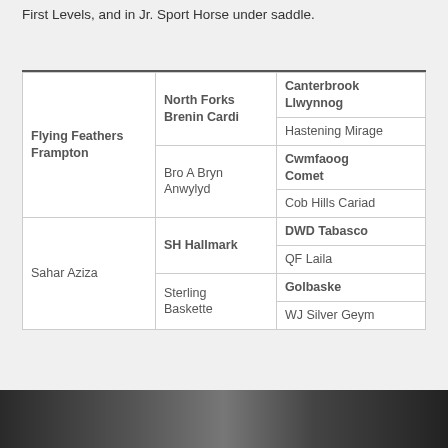First Levels, and in Jr. Sport Horse under saddle.
| Column1 | Column2 | Column3 |
| --- | --- | --- |
| Flying Feathers Frampton | North Forks Brenin Cardi | Canterbrook Llwynnog |
| Flying Feathers Frampton | North Forks Brenin Cardi | Hastening Mirage |
| Flying Feathers Frampton | Bro A Bryn Anwylyd | Cwmfaoog Comet |
| Flying Feathers Frampton | Bro A Bryn Anwylyd | Cob Hills Cariad |
| Sahar Aziza | SH Hallmark | DWD Tabasco |
| Sahar Aziza | SH Hallmark | QF Laila |
| Sahar Aziza | Sterling Baskette | Golbaske |
| Sahar Aziza | Sterling Baskette | WJ Silver Geym |
[Figure (photo): Partial image strip at bottom of page showing a horse or equestrian subject, mostly cropped.]